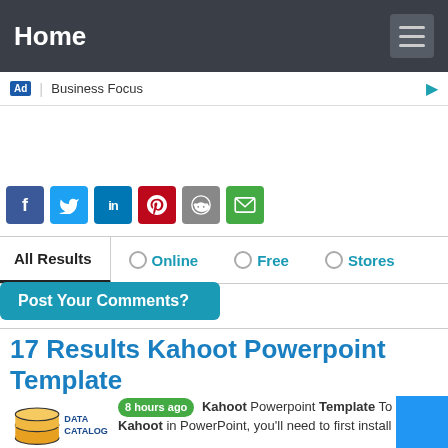Home
Ad | Business Focus
[Figure (infographic): Social share icons row: Facebook (blue), Twitter (light blue), LinkedIn (dark blue), Pinterest (red), Reddit (grey), Email (green)]
All Results  Online  Free  Stores
Post Your Comments?
17 Results Kahoot Powerpoint Template
[Figure (logo): Data Catalog logo with stacked disks icon and text DATA CATALOG]
8 hours ago Kahoot Powerpoint Template To use Kahoot in PowerPoint, you'll need to first install